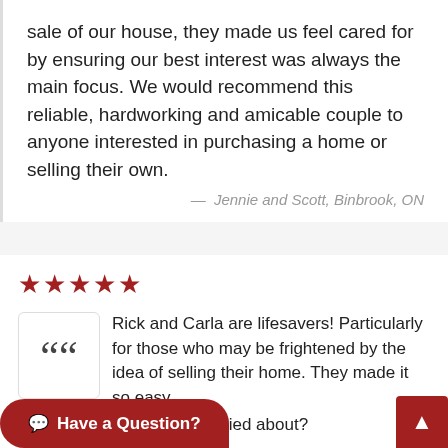sale of our house, they made us feel cared for by ensuring our best interest was always the main focus. We would recommend this reliable, hardworking and amicable couple to anyone interested in purchasing a home or selling their own.
— Jennie and Scott, Binbrook, ON
[Figure (other): Five red star rating icons]
[Figure (other): Large double open quotation mark icon in dark gray inside a white rounded-corner box]
Rick and Carla are lifesavers! Particularly for those who may be frightened by the idea of selling their home. They made it so easy. I wonder what I was so worried about?
— Joanne, Burlington, ON
Have a Question?